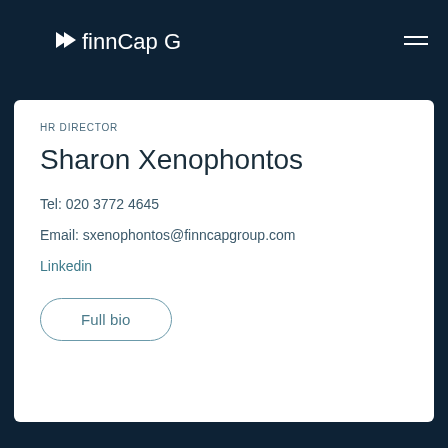finnCap Group
HR DIRECTOR
Sharon Xenophontos
Tel: 020 3772 4645
Email: sxenophontos@finncapgroup.com
Linkedin
Full bio